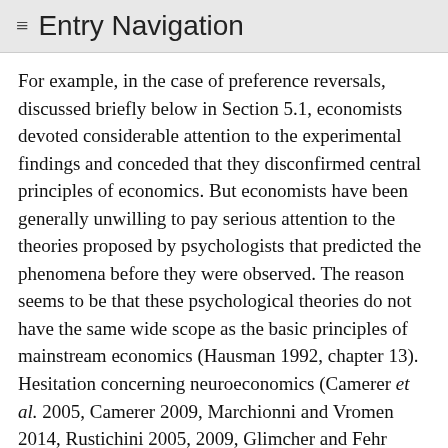≡ Entry Navigation
For example, in the case of preference reversals, discussed briefly below in Section 5.1, economists devoted considerable attention to the experimental findings and conceded that they disconfirmed central principles of economics. But economists have been generally unwilling to pay serious attention to the theories proposed by psychologists that predicted the phenomena before they were observed. The reason seems to be that these psychological theories do not have the same wide scope as the basic principles of mainstream economics (Hausman 1992, chapter 13). Hesitation concerning neuroeconomics (Camerer et al. 2005, Camerer 2009, Marchionni and Vromen 2014, Rustichini 2005, 2009, Glimcher and Fehr 2013, Reuter and Montag 2016, Vromen and Marchionni 2018) is also common. In an extremely influential essay, “The Case for Mindless Economics.” Gul and Pesandorfer (2008) argue that the findings of behavioral economics (and neuroeconomics) are irrelevant to economics. They are at most of heuristic value. They maintain that the findings of behavioral